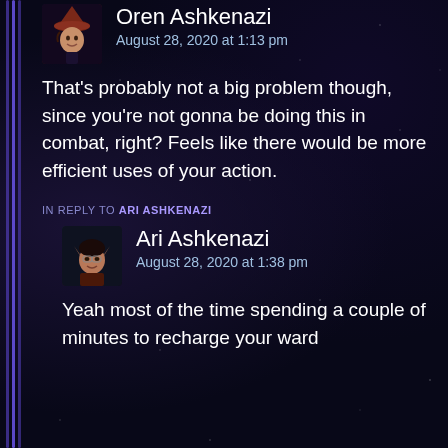[Figure (illustration): Avatar of Oren Ashkenazi - fantasy character with red/purple hat]
Oren Ashkenazi
August 28, 2020 at 1:13 pm
That's probably not a big problem though, since you're not gonna be doing this in combat, right? Feels like there would be more efficient uses of your action.
IN REPLY TO ARI ASHKENAZI
[Figure (illustration): Avatar of Ari Ashkenazi - elf character with pointed ears and glasses]
Ari Ashkenazi
August 28, 2020 at 1:38 pm
Yeah most of the time spending a couple of minutes to recharge your ward